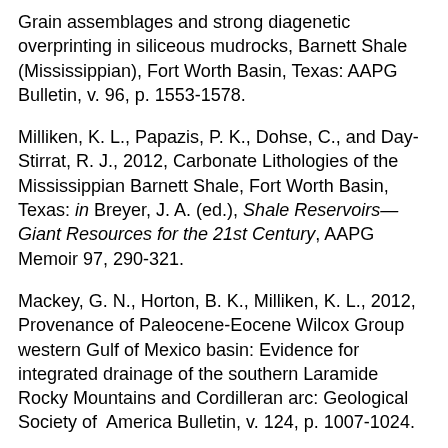Grain assemblages and strong diagenetic overprinting in siliceous mudrocks, Barnett Shale (Mississippian), Fort Worth Basin, Texas: AAPG Bulletin, v. 96, p. 1553-1578.
Milliken, K. L., Papazis, P. K., Dohse, C., and Day-Stirrat, R. J., 2012, Carbonate Lithologies of the Mississippian Barnett Shale, Fort Worth Basin, Texas: in Breyer, J. A. (ed.), Shale Reservoirs—Giant Resources for the 21st Century, AAPG Memoir 97, 290-321.
Mackey, G. N., Horton, B. K., Milliken, K. L., 2012, Provenance of Paleocene-Eocene Wilcox Group western Gulf of Mexico basin: Evidence for integrated drainage of the southern Laramide Rocky Mountains and Cordilleran arc: Geological Society of America Bulletin, v. 124, p. 1007-1024.
Özkan, A., Cumella, S. P., Milliken, K. L, and Laubach, S. E., 2011, Prediction of lithofacies and reservoir quality using